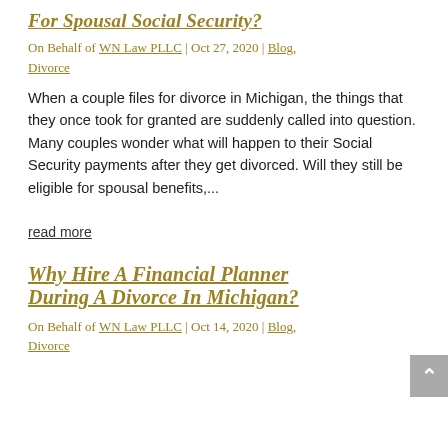For Spousal Social Security?
On Behalf of WN Law PLLC | Oct 27, 2020 | Blog, Divorce
When a couple files for divorce in Michigan, the things that they once took for granted are suddenly called into question. Many couples wonder what will happen to their Social Security payments after they get divorced. Will they still be eligible for spousal benefits,...
read more
Why hire a financial planner during a divorce in Michigan?
On Behalf of WN Law PLLC | Oct 14, 2020 | Blog, Divorce